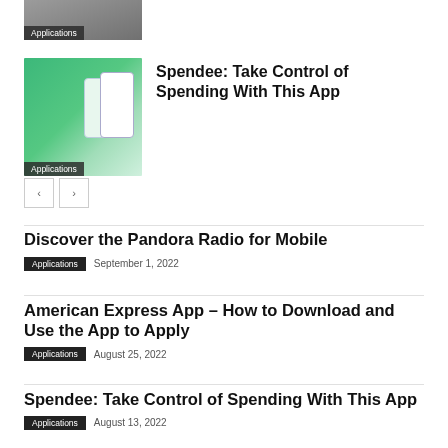[Figure (photo): Partially visible cropped photo of a person with an Applications label overlay at bottom left]
[Figure (screenshot): Spendee app screenshot showing green-themed mobile app interface with phone mockups and Applications label overlay]
Spendee: Take Control of Spending With This App
< (previous navigation button)
> (next navigation button)
Discover the Pandora Radio for Mobile
Applications  September 1, 2022
American Express App – How to Download and Use the App to Apply
Applications  August 25, 2022
Spendee: Take Control of Spending With This App
Applications  August 13, 2022